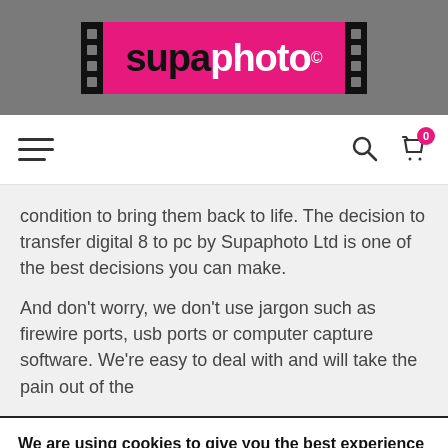[Figure (logo): Supaphoto logo on pink background with film strip borders]
[Figure (infographic): Navigation bar with hamburger menu, search icon, and shopping cart with badge showing 0]
condition to bring them back to life. The decision to transfer digital 8 to pc by Supaphoto Ltd is one of the best decisions you can make.
And don't worry, we don't use jargon such as firewire ports, usb ports or computer capture software. We're easy to deal with and will take the pain out of the
We are using cookies to give you the best experience on our website.
You can find out more about which cookies we are using or switch them off in settings.